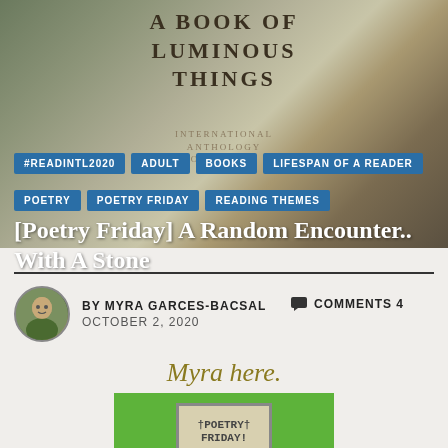[Figure (photo): Hero image showing a book spine with text 'A BOOK OF LUMINOUS THINGS' with blurred bookshelf background]
#READINTL2020
ADULT
BOOKS
LIFESPAN OF A READER
POETRY
POETRY FRIDAY
READING THEMES
[Poetry Friday] A Random Encounter.. With A Stone
BY MYRA GARCES-BACSAL   COMMENTS 4
OCTOBER 2, 2020
Myra here.
[Figure (photo): Poetry Friday logo sign on bright green background with dark tree silhouettes at bottom]